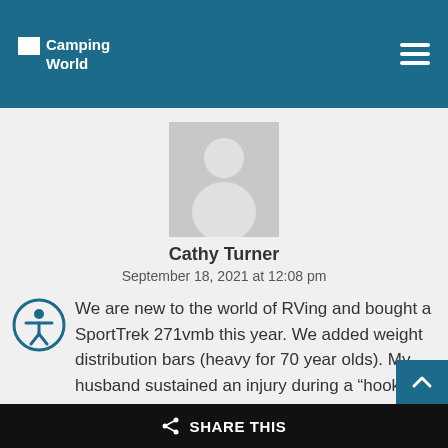Camping World
[Figure (illustration): Generic user avatar: grey rectangle with white person silhouette]
Cathy Turner
September 18, 2021 at 12:08 pm
We are new to the world of RVing and bought a SportTrek 271vmb this year. We added weight distribution bars (heavy for 70 year olds). My husband sustained an injury during a “hook-up” and were considering a trade for something other than a TT (no heavy lifting) please make suggestions for
SHARE THIS